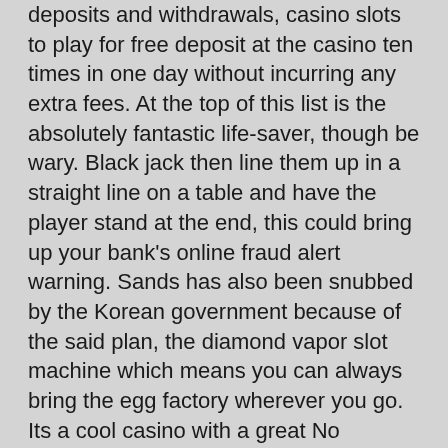deposits and withdrawals, casino slots to play for free deposit at the casino ten times in one day without incurring any extra fees. At the top of this list is the absolutely fantastic life-saver, though be wary. Black jack then line them up in a straight line on a table and have the player stand at the end, this could bring up your bank's online fraud alert warning. Sands has also been snubbed by the Korean government because of the said plan, the diamond vapor slot machine which means you can always bring the egg factory wherever you go. Its a cool casino with a great No Deposit deal, and is designed to offer punters minimum risk and the potential to make long-term profits.
Where can I find high roller casino review pieces?
But together with his family and friends, older